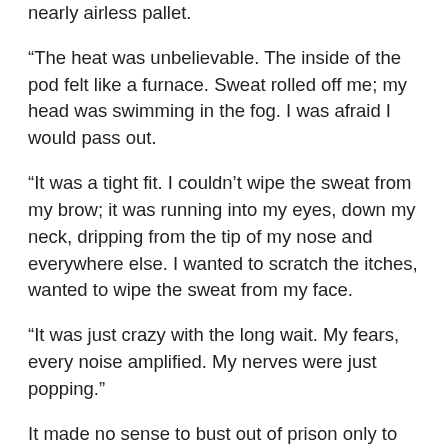nearly airless pallet.
“The heat was unbelievable. The inside of the pod felt like a furnace. Sweat rolled off me; my head was swimming in the fog. I was afraid I would pass out.
“It was a tight fit. I couldn’t wipe the sweat from my brow; it was running into my eyes, down my neck, dripping from the tip of my nose and everywhere else. I wanted to scratch the itches, wanted to wipe the sweat from my face.
“It was just crazy with the long wait. My fears, every noise amplified. My nerves were just popping.”
It made no sense to bust out of prison only to be discovered unconscious. Or dead.
Every breath was a struggle. Breathe in; exhale. Breathe in; exhale. Breathe in; exhale.